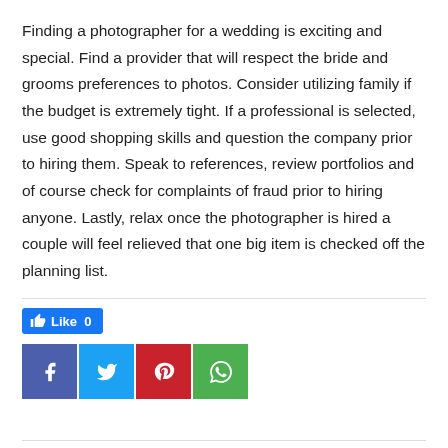Finding a photographer for a wedding is exciting and special. Find a provider that will respect the bride and grooms preferences to photos. Consider utilizing family if the budget is extremely tight. If a professional is selected, use good shopping skills and question the company prior to hiring them. Speak to references, review portfolios and of course check for complaints of fraud prior to hiring anyone. Lastly, relax once the photographer is hired a couple will feel relieved that one big item is checked off the planning list.
[Figure (infographic): Social sharing buttons: Facebook Like (0), Facebook share, Twitter share, Pinterest share, WhatsApp share]